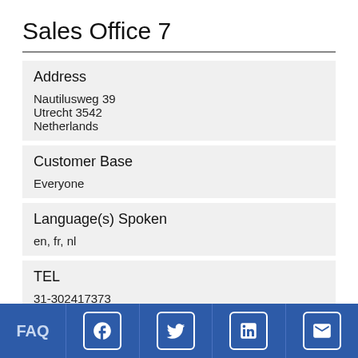Sales Office 7
Address
Nautilusweg 39
Utrecht 3542
Netherlands
Customer Base
Everyone
Language(s) Spoken
en, fr, nl
TEL
31-302417373
Payment Method(s)
FAQ  [Facebook] [Twitter] [LinkedIn] [Email]